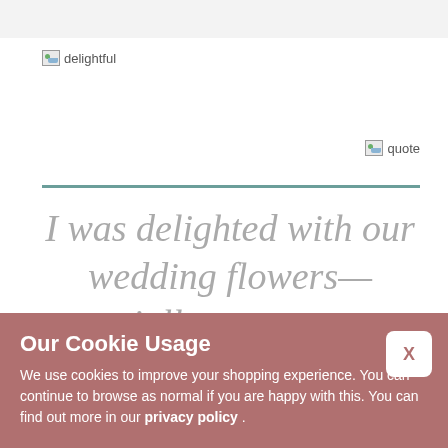[Figure (logo): Broken image placeholder with text 'delightful' — website logo]
[Figure (illustration): Broken image placeholder labeled 'quote' — decorative quote icon]
I was delighted with our wedding flowers— especially my gorgeous, trailing bouquet. It looked
Our Cookie Usage
We use cookies to improve your shopping experience. You can continue to browse as normal if you are happy with this. You can find out more in our privacy policy .